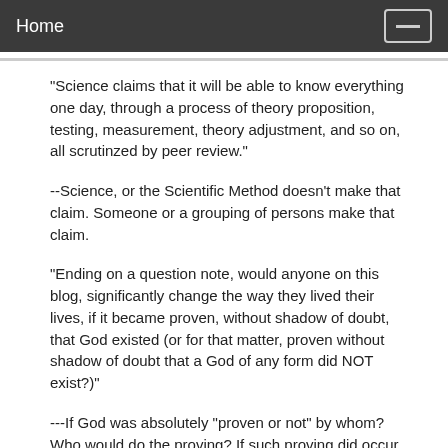Home
"Science claims that it will be able to know everything one day, through a process of theory proposition, testing, measurement, theory adjustment, and so on, all scrutinzed by peer review."
--Science, or the Scientific Method doesn't make that claim. Someone or a grouping of persons make that claim.
"Ending on a question note, would anyone on this blog, significantly change the way they lived their lives, if it became proven, without shadow of doubt, that God existed (or for that matter, proven without shadow of doubt that a God of any form did NOT exist?)"
---If God was absolutely "proven or not" by whom? Who would do the proving? If such proving did occur, absolutely, I would change from driving a Ford to a Chevrolet pickup truck. It is possible for me to worship the letter "C" and dump my current worship of the letter